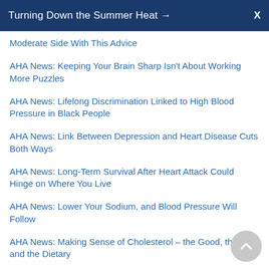Turning Down the Summer Heat →  X
Moderate Side With This Advice
AHA News: Keeping Your Brain Sharp Isn't About Working More Puzzles
AHA News: Lifelong Discrimination Linked to High Blood Pressure in Black People
AHA News: Link Between Depression and Heart Disease Cuts Both Ways
AHA News: Long-Term Survival After Heart Attack Could Hinge on Where You Live
AHA News: Lower Your Sodium, and Blood Pressure Will Follow
AHA News: Making Sense of Cholesterol &ndash; the Good, the Bad and the Dietary
AHA News: Menopause Before 40 Tied to Higher Stroke Risk